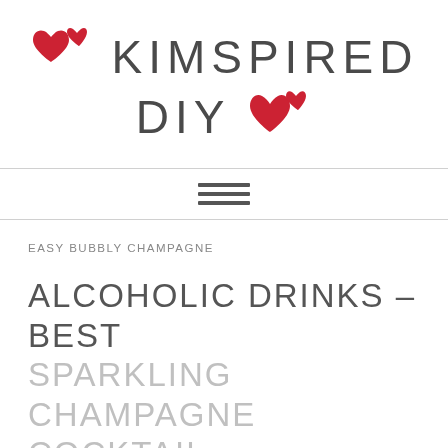[Figure (logo): Kimspired DIY logo with red hearts and large light gray text on two lines]
[Figure (other): Hamburger menu icon (three horizontal lines) between two horizontal rules]
EASY BUBBLY CHAMPAGNE
ALCOHOLIC DRINKS – BEST SPARKLING CHAMPAGNE COCKTAIL RECIPE – EASY AND SIMPLE